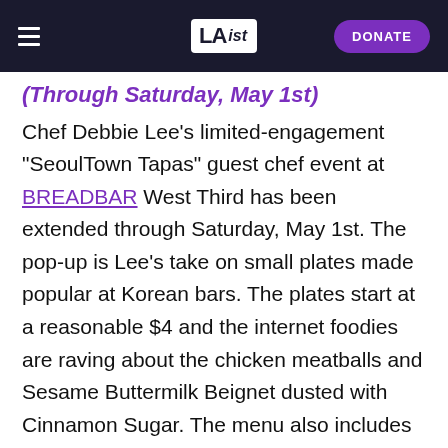LAist — DONATE
(Through Saturday, May 1st)
Chef Debbie Lee's limited-engagement "SeoulTown Tapas" guest chef event at BREADBAR West Third has been extended through Saturday, May 1st. The pop-up is Lee's take on small plates made popular at Korean bars. The plates start at a reasonable $4 and the internet foodies are raving about the chicken meatballs and Sesame Buttermilk Beignet dusted with Cinnamon Sugar. The menu also includes including Korean Fried Chicken, Grilled Nutella Sammie, and Mamma Lee's Meatloaf. Get a preview of Lee's upcoming LA restaurant. Available every Tuesday - Saturday from 5:30 p.m. - close